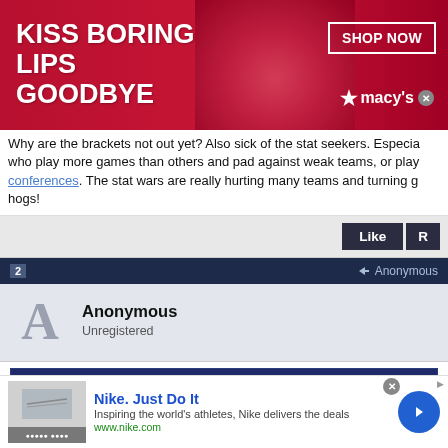[Figure (photo): Macy's advertisement banner: red background with woman's face and lips, text 'KISS BORING LIPS GOODBYE', 'SHOP NOW' button, Macy's star logo]
Why are the brackets not out yet? Also sick of the stat seekers. Especially who play more games than others and pad against weak teams, or play conferences. The stat wars are really hurting many teams and turning hogs!
Like | R
Anonymous
Anonymous
Unregistered
Originally Posted by Anonymous
Why are the brackets not out yet? Also sick of the stat seekers. Esp
[Figure (screenshot): Nike advertisement: 'Nike. Just Do It' with tagline 'Inspiring the world's athletes, Nike delivers the deals', www.nike.com, blue arrow button]